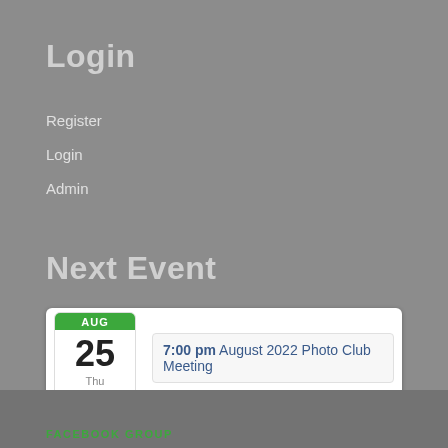Login
Register
Login
Admin
Next Event
[Figure (other): Calendar event card showing August 25, Thursday with event '7:00 pm August 2022 Photo Club Meeting']
FACEBOOK GROUP